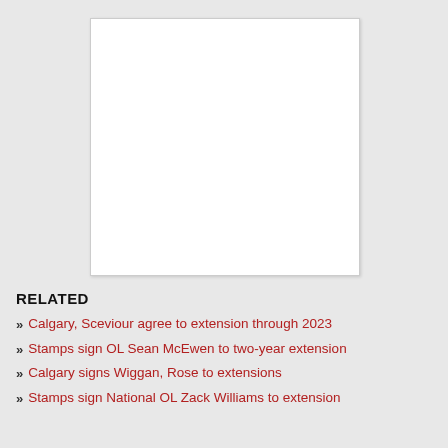[Figure (other): White rectangular blank image placeholder with light border]
RELATED
Calgary, Sceviour agree to extension through 2023
Stamps sign OL Sean McEwen to two-year extension
Calgary signs Wiggan, Rose to extensions
Stamps sign National OL Zack Williams to extension